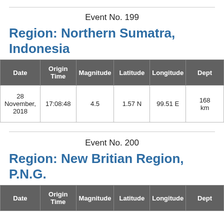Event No. 199
Region: Northern Sumatra, Indonesia
| Date | Origin Time | Magnitude | Latitude | Longitude | Depth |
| --- | --- | --- | --- | --- | --- |
| 28 November, 2018 | 17:08:48 | 4.5 | 1.57 N | 99.51 E | 168 km |
Event No. 200
Region: New Britian Region, P.N.G.
| Date | Origin Time | Magnitude | Latitude | Longitude | Depth |
| --- | --- | --- | --- | --- | --- |